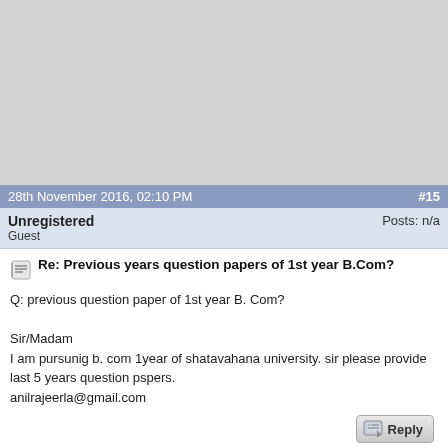[Figure (other): Advertisement/blank gray area at top of page]
28th November 2016, 02:10 PM   #15
Unregistered
Guest
Posts: n/a
Re: Previous years question papers of 1st year B.Com?
Q: previous question paper of 1st year B. Com?

Sir/Madam
I am pursunig b. com 1year of shatavahana university. sir please provide last 5 years question pspers.
anilrajeerla@gmail.com
23rd December 2016, 04:02 PM   #16
Unregistered   Posts: n/a